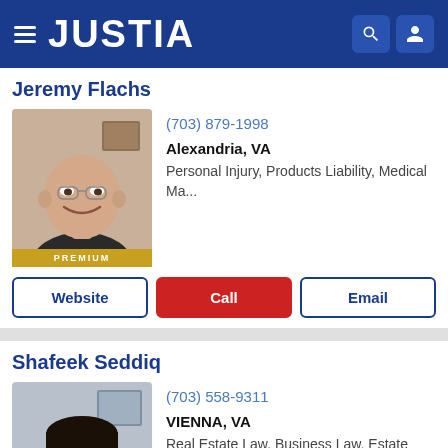JUSTIA
Jeremy Flachs
[Figure (photo): Headshot of Jeremy Flachs, bald man smiling, wearing dark clothes, with PREMIUM badge at bottom]
(703) 879-1998
Alexandria, VA
Personal Injury, Products Liability, Medical Ma...
Website  Call  Email
Shafeek Seddiq
[Figure (photo): Headshot of Shafeek Seddiq, man with glasses and beard wearing suit with red striped tie, with PREMIUM badge at bottom]
(703) 558-9311
VIENNA, VA
Real Estate Law, Business Law, Estate Planning
Website  Call  Email